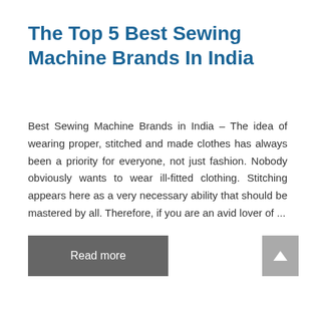The Top 5 Best Sewing Machine Brands In India
Best Sewing Machine Brands in India – The idea of wearing proper, stitched and made clothes has always been a priority for everyone, not just fashion. Nobody obviously wants to wear ill-fitted clothing. Stitching appears here as a very necessary ability that should be mastered by all. Therefore, if you are an avid lover of ...
Read more